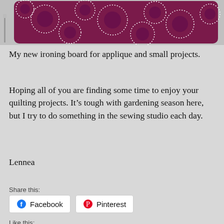[Figure (photo): Photo of a purple/magenta ironing board cover with white dotted circle pattern]
My new ironing board for applique and small projects.
Hoping all of you are finding some time to enjoy your quilting projects. It’s tough with gardening season here, but I try to do something in the sewing studio each day.
Lennea
Share this:
Facebook  Pinterest
Like this: